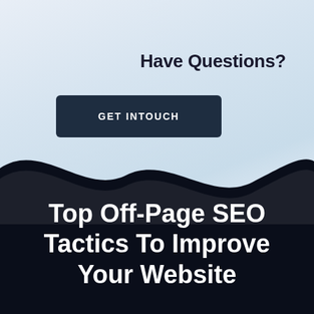Have Questions?
GET INTOUCH
Top Off-Page SEO Tactics To Improve Your Website